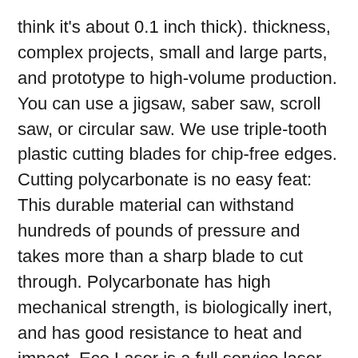think it's about 0.1 inch thick). thickness, complex projects, small and large parts, and prototype to high-volume production. You can use a jigsaw, saber saw, scroll saw, or circular saw. We use triple-tooth plastic cutting blades for chip-free edges. Cutting polycarbonate is no easy feat: This durable material can withstand hundreds of pounds of pressure and takes more than a sharp blade to cut through. Polycarbonate has high mechanical strength, is biologically inert, and has good resistance to heat and impact. Eco Laser is a full service laser cutting and CNC bending shop that services the whole of Gauteng and beyond. Polycarbonate has high mechanical strength, is biologically inert, and has good resistance to heat and impact. Polycarbonate tends to discolor with laser cutting. Verified Supplier. 2 and 3-axis CO2 and fiber plastic laser cutting services for acrylic, polycarbonate, nylon, polyethylene, Delrin® and PVC. A